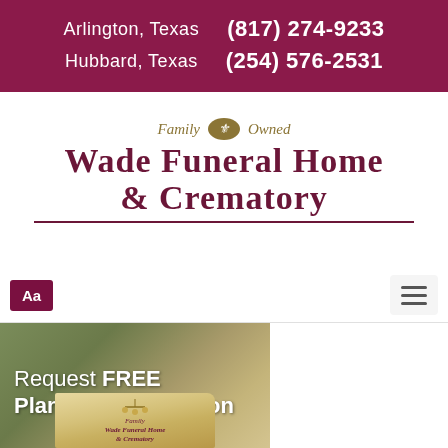Arlington, Texas (817) 274-9233 | Hubbard, Texas (254) 576-2531
[Figure (logo): Wade Funeral Home & Crematory logo with 'Family Owned' script text and fleur-de-lis oval emblem]
Aa
[Figure (infographic): Banner image showing 'Request FREE Planning Information' with a book/brochure for Wade Funeral Home & Crematory]